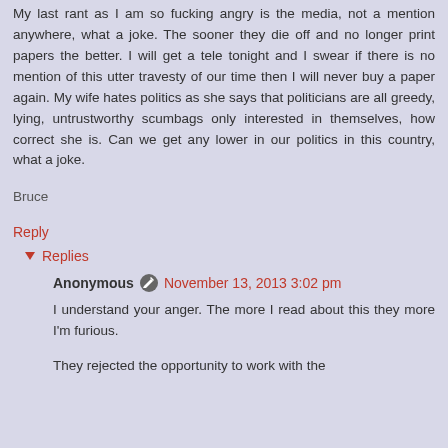My last rant as I am so fucking angry is the media, not a mention anywhere, what a joke. The sooner they die off and no longer print papers the better. I will get a tele tonight and I swear if there is no mention of this utter travesty of our time then I will never buy a paper again. My wife hates politics as she says that politicians are all greedy, lying, untrustworthy scumbags only interested in themselves, how correct she is. Can we get any lower in our politics in this country, what a joke.
Bruce
Reply
Replies
Anonymous  November 13, 2013 3:02 pm
I understand your anger. The more I read about this they more I'm furious.
They rejected the opportunity to work with the